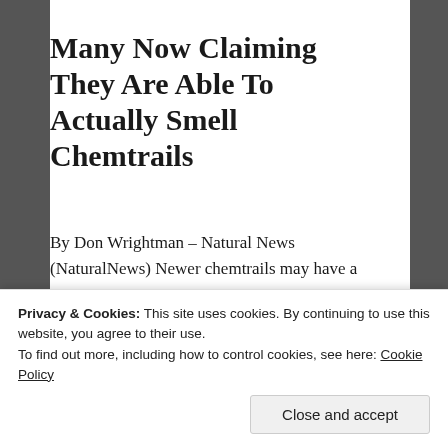Many Now Claiming They Are Able To Actually Smell Chemtrails
By Don Wrightman – Natural News (NaturalNews) Newer chemtrails may have a static electricity or metallic smell, similar to the scent that hits you when you walk into a hospital. Google searches for the term chemtrails have skyrocketed after the easily observed an increase in spraying activity arising that has a distinct, sharper smell. It has other…
December 3, 2016 in Environment.
Privacy & Cookies: This site uses cookies. By continuing to use this website, you agree to their use.
To find out more, including how to control cookies, see here: Cookie Policy
Close and accept